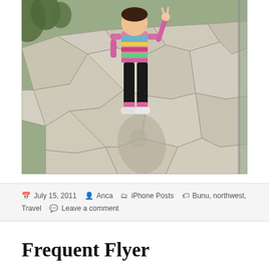[Figure (photo): A young girl in a colorful striped jacket and black leggings standing on a stone-paved pathway, making a peace sign with her hand. Her shadow is visible on the pavement. There are trees and a metal railing in the background.]
July 15, 2011  Anca  iPhone Posts  Bunu, northwest, Travel  Leave a comment
Frequent Flyer